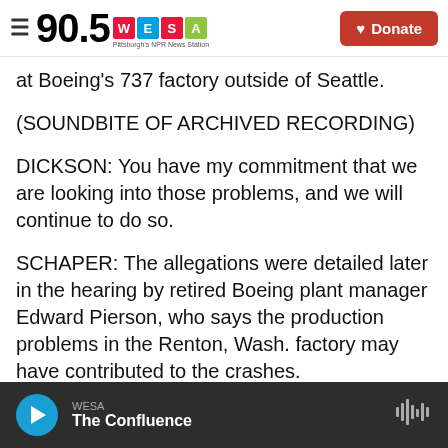90.5 WESA – Pittsburgh's NPR News Station | Donate
at Boeing's 737 factory outside of Seattle.
(SOUNDBITE OF ARCHIVED RECORDING)
DICKSON: You have my commitment that we are looking into those problems, and we will continue to do so.
SCHAPER: The allegations were detailed later in the hearing by retired Boeing plant manager Edward Pierson, who says the production problems in the Renton, Wash. factory may have contributed to the crashes.
WESA – The Confluence